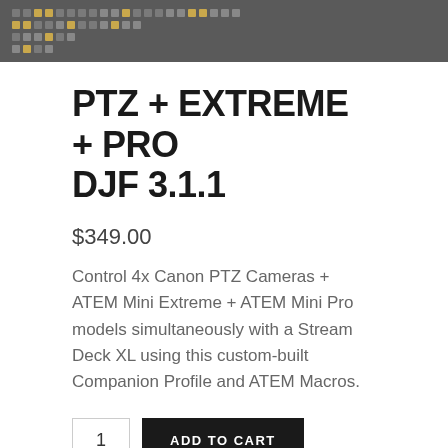[Figure (screenshot): Stream Deck XL controller image with grid of buttons shown as dots on dark background]
PTZ + EXTREME + PRO DJF 3.1.1
$349.00
Control 4x Canon PTZ Cameras + ATEM Mini Extreme + ATEM Mini Pro models simultaneously with a Stream Deck XL using this custom-built Companion Profile and ATEM Macros.
1  ADD TO CART